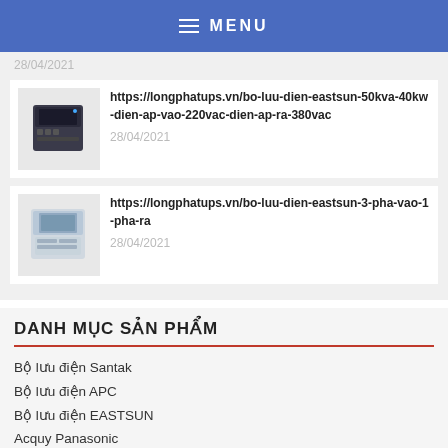MENU
28/04/2021
https://longphatups.vn/bo-luu-dien-eastsun-50kva-40kw-dien-ap-vao-220vac-dien-ap-ra-380vac
28/04/2021
https://longphatups.vn/bo-luu-dien-eastsun-3-pha-vao-1-pha-ra
28/04/2021
DANH MỤC SẢN PHẨM
Bộ lưu điện Santak
Bộ lưu điện APC
Bộ lưu điện EASTSUN
Acquy Panasonic
Acquy Long
Acquy Vision